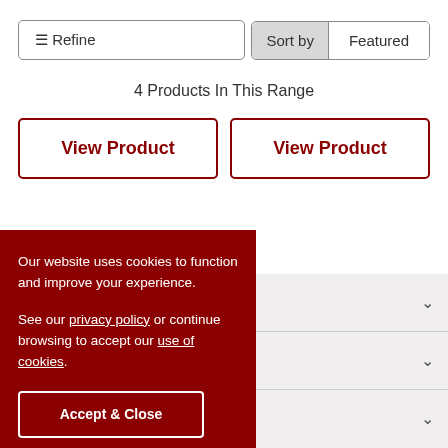≡ Refine
Sort by   Featured
4 Products In This Range
View Product
View Product
Our website uses cookies to function and improve your experience.

See our privacy policy or continue browsing to accept our use of cookies.
Accept & Close